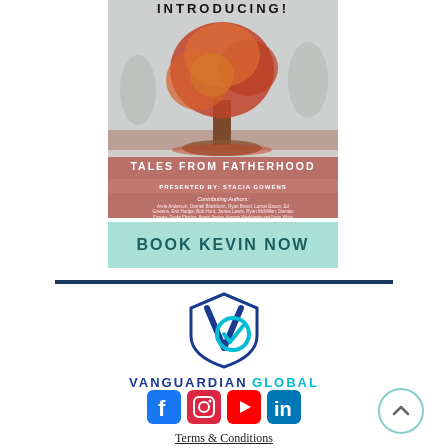[Figure (illustration): Book cover for 'Tales from Fatherhood' with a colorful autumn tree, silhouetted figures in background, presented by Stacia Gowens, with contributing authors listed. Title 'INTRODUCING!' at top.]
[Figure (illustration): Teal/mint colored button reading 'BOOK KEVIN NOW' in large dark teal bold text]
[Figure (logo): Vanguardian Global logo: a shield shape with overlapping V and checkmark in blue and teal]
VANGUARDIAN GLOBAL
[Figure (illustration): Social media icons row: Facebook, Instagram, YouTube, LinkedIn]
[Figure (illustration): Back to top circular button with upward chevron]
Terms & Conditions